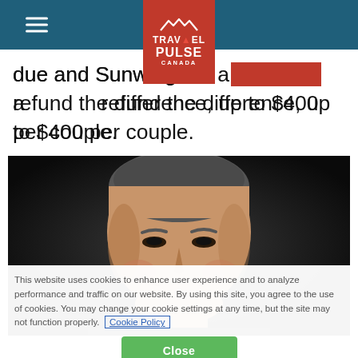Travel Pulse Canada
due and Sunwing will automatically refund the difference, up to $400 per couple.
[Figure (photo): Close-up portrait photo of a middle-aged man smiling, dark background]
This website uses cookies to enhance user experience and to analyze performance and traffic on our website. By using this site, you agree to the use of cookies. You may change your cookie settings at any time, but the site may not function properly. Cookie Policy
Close